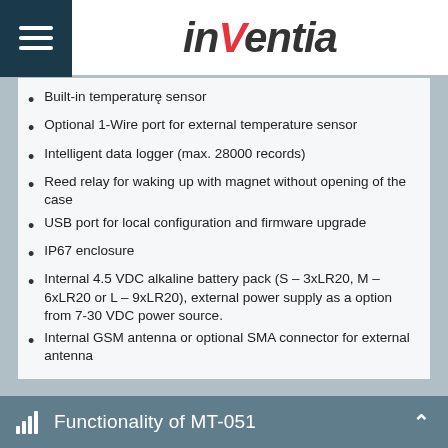inVentia
Built-in temperature sensor
Optional 1-Wire port for external temperature sensor
Intelligent data logger (max. 28000 records)
Reed relay for waking up with magnet without opening of the case
USB port for local configuration and firmware upgrade
IP67 enclosure
Internal 4.5 VDC alkaline battery pack (S – 3xLR20, M – 6xLR20 or L – 9xLR20), external power supply as a option from 7-30 VDC power source.
Internal GSM antenna or optional SMA connector for external antenna
Functionality of MT-051